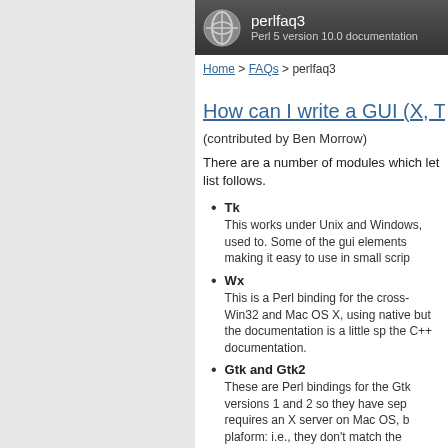perlfaq3 | Perl 5 version 10.0 documentation
Home > FAQs > perlfaq3
How can I write a GUI (X, Tk...
(contributed by Ben Morrow)
There are a number of modules which let list follows.
Tk
This works under Unix and Windows, used to. Some of the gui elements making it easy to use in small scrip
Wx
This is a Perl binding for the cross- Win32 and Mac OS X, using native but the documentation is a little sp the C++ documentation.
Gtk and Gtk2
These are Perl bindings for the Gtk versions 1 and 2 so they have sep requires an X server on Mac OS, b plaform: i.e., they don't match the